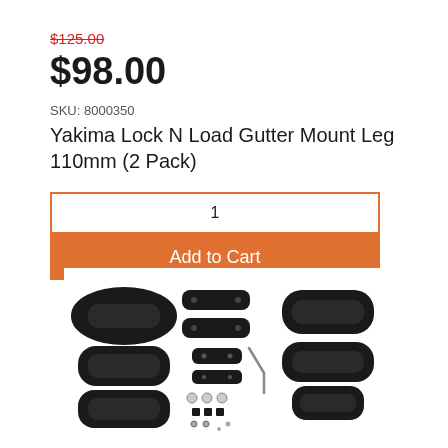$125.00 (strikethrough, red)
$98.00
SKU: 8000350
Yakima Lock N Load Gutter Mount Leg 110mm (2 Pack)
1
Add to Cart
[Figure (photo): Product photo showing Yakima Lock N Load Gutter Mount Leg hardware components laid out — black oval-shaped gutter mounts, flat brackets, screws, spacers, and an Allen key on white background.]